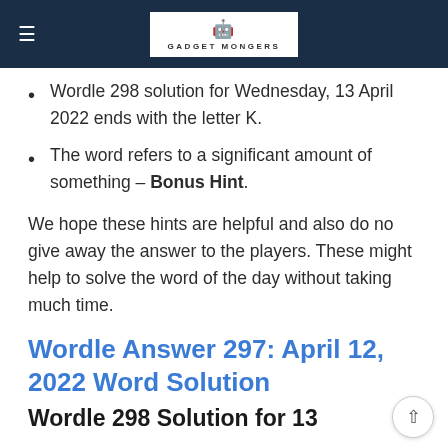GADGET MONGERS
Wordle 298 solution for Wednesday, 13 April 2022 ends with the letter K.
The word refers to a significant amount of something – Bonus Hint.
We hope these hints are helpful and also do no give away the answer to the players. These might help to solve the word of the day without taking much time.
Wordle Answer 297: April 12, 2022 Word Solution
Wordle 298 Solution for 13